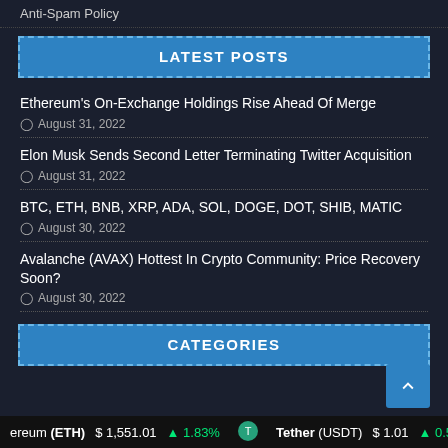Anti-Spam Policy
LATEST POSTS
Ethereum's On-Exchange Holdings Rise Ahead Of Merge
August 31, 2022
Elon Musk Sends Second Letter Terminating Twitter Acquisition
August 31, 2022
BTC, ETH, BNB, XRP, ADA, SOL, DOGE, DOT, SHIB, MATIC
August 30, 2022
Avalanche (AVAX) Hottest In Crypto Community: Price Recovery Soon?
August 30, 2022
CATEGORIES
ereum (ETH) $ 1,551.01 ↑1.83%   Tether (USDT) $ 1.01 ↑0.58%